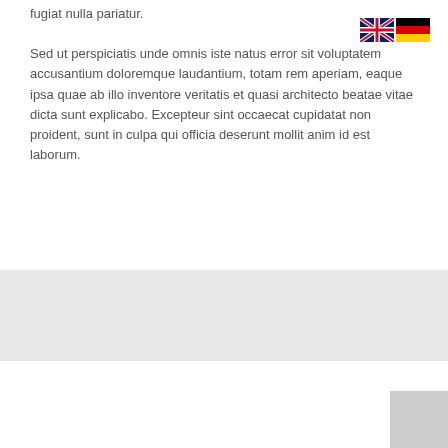fugiat nulla pariatur.

Sed ut perspiciatis unde omnis iste natus error sit voluptatem accusantium doloremque laudantium, totam rem aperiam, eaque ipsa quae ab illo inventore veritatis et quasi architecto beatae vitae dicta sunt explicabo. Excepteur sint occaecat cupidatat non proident, sunt in culpa qui officia deserunt mollit anim id est laborum.
[Figure (illustration): UK flag (Union Jack) and German flag icons for language selection]
Diese Website benutzt Cookies. Wenn du die Website weiter nutzt, gehen wir von deinem Einverständnis aus.
Bestätigen   Ablehnen   Mehr Infos
Latest News